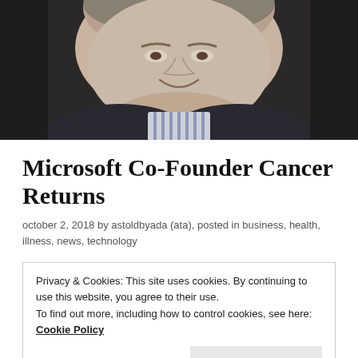[Figure (photo): Close-up photo of a smiling middle-aged man in a dark jacket and striped shirt, cropped to show face and upper chest, dark blurred background]
Microsoft Co-Founder Cancer Returns
october 2, 2018 by astoldbyada (ata), posted in business, health, illness, news, technology
Privacy & Cookies: This site uses cookies. By continuing to use this website, you agree to their use.
To find out more, including how to control cookies, see here: Cookie Policy

Close and accept
and I plan on fighting this aggressively" Allen wrote in a